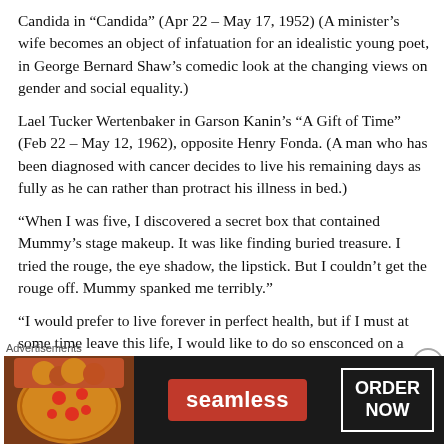Candida in “Candida” (Apr 22 – May 17, 1952) (A minister’s wife becomes an object of infatuation for an idealistic young poet, in George Bernard Shaw’s comedic look at the changing views on gender and social equality.)
Lael Tucker Wertenbaker in Garson Kanin’s “A Gift of Time” (Feb 22 – May 12, 1962), opposite Henry Fonda. (A man who has been diagnosed with cancer decides to live his remaining days as fully as he can rather than protract his illness in bed.)
“When I was five, I discovered a secret box that contained Mummy’s stage makeup. It was like finding buried treasure. I tried the rouge, the eye shadow, the lipstick. But I couldn’t get the rouge off. Mummy spanked me terribly.”
“I would prefer to live forever in perfect health, but if I must at some time leave this life, I would like to do so ensconced on a chaise longue, perfumed, wearing a velvet robe and pearl
Advertisements
[Figure (other): Seamless food delivery advertisement banner with pizza image on left, Seamless logo in red badge center, and ORDER NOW button on right, on dark background.]